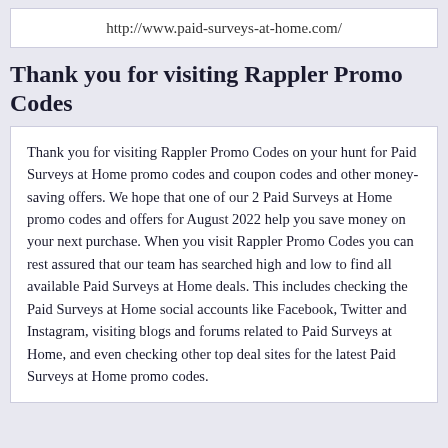http://www.paid-surveys-at-home.com/
Thank you for visiting Rappler Promo Codes
Thank you for visiting Rappler Promo Codes on your hunt for Paid Surveys at Home promo codes and coupon codes and other money-saving offers. We hope that one of our 2 Paid Surveys at Home promo codes and offers for August 2022 help you save money on your next purchase. When you visit Rappler Promo Codes you can rest assured that our team has searched high and low to find all available Paid Surveys at Home deals. This includes checking the Paid Surveys at Home social accounts like Facebook, Twitter and Instagram, visiting blogs and forums related to Paid Surveys at Home, and even checking other top deal sites for the latest Paid Surveys at Home promo codes.